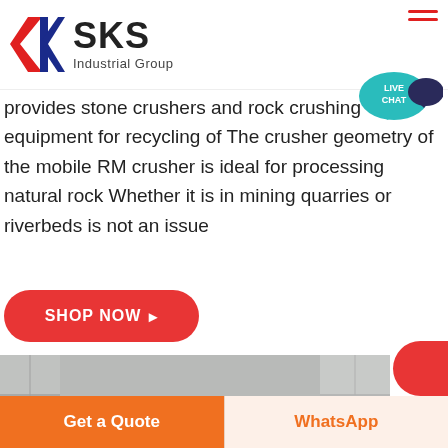[Figure (logo): SKS Industrial Group logo with red and blue K graphic and company name]
provides stone crushers and rock crushing equipment for recycling of The crusher geometry of the mobile RM crusher is ideal for processing natural rock Whether it is in mining quarries or riverbeds is not an issue
SHOP NOW →
[Figure (photo): A large pile of crushed grey gravel/aggregate against concrete walls]
Get a Quote
WhatsApp